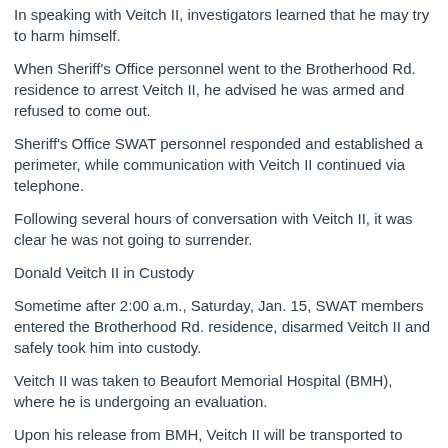In speaking with Veitch II, investigators learned that he may try to harm himself.
When Sheriff's Office personnel went to the Brotherhood Rd. residence to arrest Veitch II, he advised he was armed and refused to come out.
Sheriff's Office SWAT personnel responded and established a perimeter, while communication with Veitch II continued via telephone.
Following several hours of conversation with Veitch II, it was clear he was not going to surrender.
Donald Veitch II in Custody
Sometime after 2:00 a.m., Saturday, Jan. 15, SWAT members entered the Brotherhood Rd. residence, disarmed Veitch II and safely took him into custody.
Veitch II was taken to Beaufort Memorial Hospital (BMH), where he is undergoing an evaluation.
Upon his release from BMH, Veitch II will be transported to